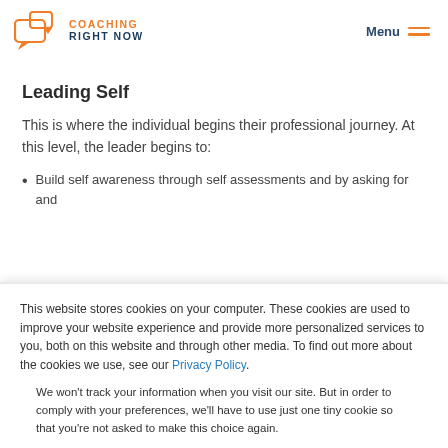Coaching Right Now — Menu
Leading Self
This is where the individual begins their professional journey. At this level, the leader begins to:
Build self awareness through self assessments and by asking for and
This website stores cookies on your computer. These cookies are used to improve your website experience and provide more personalized services to you, both on this website and through other media. To find out more about the cookies we use, see our Privacy Policy.
We won't track your information when you visit our site. But in order to comply with your preferences, we'll have to use just one tiny cookie so that you're not asked to make this choice again.